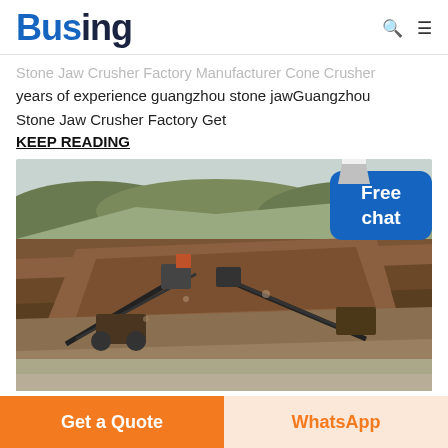Busing
Stone Jaw Crusher Factory Manufacturer Cone Crusher years of experience guangzhou stone jawGuangzhou Stone Jaw Crusher Factory Get
KEEP READING
[Figure (photo): Aerial/elevated view of an open-pit stone quarry/mining operation with heavy machinery, conveyors, and crushed rock, under an overcast sky.]
Get a Quote
WhatsApp